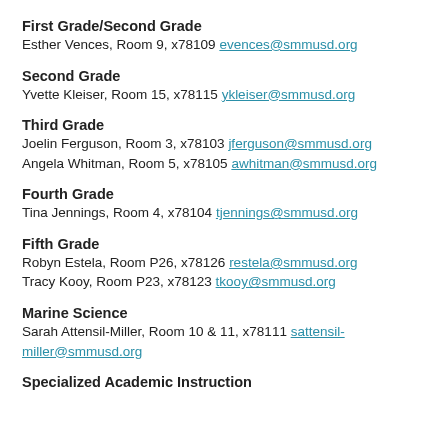First Grade/Second Grade
Esther Vences, Room 9, x78109 evences@smmusd.org
Second Grade
Yvette Kleiser, Room 15, x78115 ykleiser@smmusd.org
Third Grade
Joelin Ferguson, Room 3, x78103 jferguson@smmusd.org
Angela Whitman, Room 5, x78105 awhitman@smmusd.org
Fourth Grade
Tina Jennings, Room 4, x78104 tjennings@smmusd.org
Fifth Grade
Robyn Estela, Room P26, x78126 restela@smmusd.org
Tracy Kooy, Room P23, x78123 tkooy@smmusd.org
Marine Science
Sarah Attensil-Miller, Room 10 & 11, x78111 sattensil-miller@smmusd.org
Specialized Academic Instruction